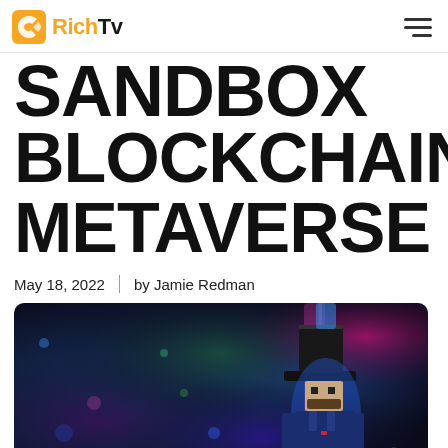RichTv
SANDBOX BLOCKCHAIN METAVERSE
May 18, 2022  |  by Jamie Redman
[Figure (photo): A pixel-art style 3D character wearing a tall black top hat and blue outfit, set against a colorful blurred cosmic/floral background with blue, pink, green and purple hues — promotional image for The Sandbox Blockchain Metaverse article.]